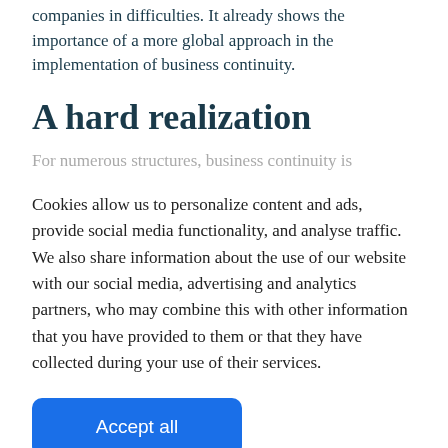companies in difficulties. It already shows the importance of a more global approach in the implementation of business continuity.
A hard realization
For numerous structures, business continuity is
Cookies allow us to personalize content and ads, provide social media functionality, and analyse traffic. We also share information about the use of our website with our social media, advertising and analytics partners, who may combine this with other information that you have provided to them or that they have collected during your use of their services.
Accept all
Accept only necessary cookies